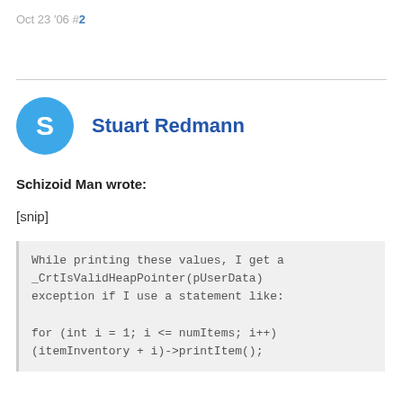Oct 23 '06 #2
[Figure (other): User avatar circle with letter S for Stuart Redmann]
Stuart Redmann
Schizoid Man wrote:
[snip]
While printing these values, I get a _CrtIsValidHeapPointer(pUserData) exception if I use a statement like:

for (int i = 1; i <= numItems; i++)
(itemInventory + i)->printItem();